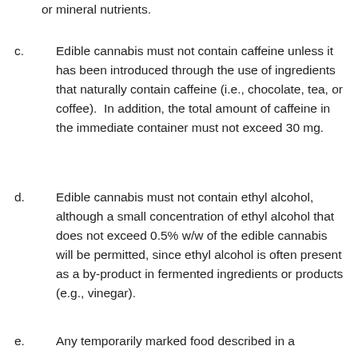or mineral nutrients.
c. Edible cannabis must not contain caffeine unless it has been introduced through the use of ingredients that naturally contain caffeine (i.e., chocolate, tea, or coffee).  In addition, the total amount of caffeine in the immediate container must not exceed 30 mg.
d. Edible cannabis must not contain ethyl alcohol, although a small concentration of ethyl alcohol that does not exceed 0.5% w/w of the edible cannabis will be permitted, since ethyl alcohol is often present as a by-product in fermented ingredients or products (e.g., vinegar).
e. Any temporarily marked food described in a